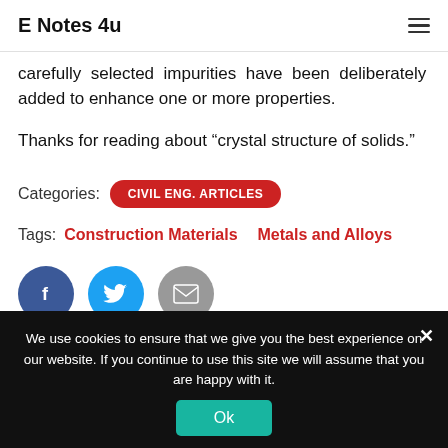E Notes 4u
carefully selected impurities have been deliberately added to enhance one or more properties.
Thanks for reading about “crystal structure of solids.”
Categories:  CIVIL ENG. ARTICLES
Tags:  Construction Materials   Metals and Alloys
[Figure (other): Social share buttons: Facebook (blue circle with f), Twitter (light blue circle with bird icon), Email (grey circle with envelope icon)]
We use cookies to ensure that we give you the best experience on our website. If you continue to use this site we will assume that you are happy with it.  Ok